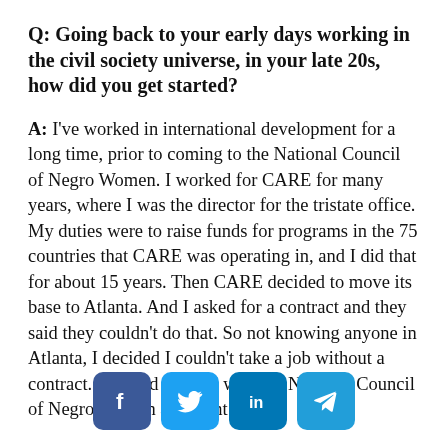Q: Going back to your early days working in the civil society universe, in your late 20s, how did you get started?
A: I've worked in international development for a long time, prior to coming to the National Council of Negro Women. I worked for CARE for many years, where I was the director for the tristate office. My duties were to raise funds for programs in the 75 countries that CARE was operating in, and I did that for about 15 years. Then CARE decided to move its base to Atlanta. And I asked for a contract and they said they couldn't do that. So not knowing anyone in Atlanta, I decided I couldn't take a job without a contract. So I had worked with the National Council of Negro Women and went
[Figure (infographic): Social media share buttons: Facebook (blue), Twitter (light blue), LinkedIn (blue), Telegram (blue)]